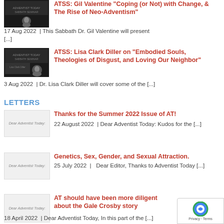[Figure (photo): Thumbnail image for ATSS Gil Valentine article, dark background with person]
ATSS: Gil Valentine "Coping (or Not) with Change, & The Rise of Neo-Adventism"
17 Aug 2022 | This Sabbath Dr. Gil Valentine will present [...]
[Figure (photo): Thumbnail image for ATSS Lisa Clark Diller article, dark background with person]
ATSS: Lisa Clark Diller on "Embodied Souls, Theologies of Disgust, and Loving Our Neighbor"
3 Aug 2022 | Dr. Lisa Clark Diller will cover some of the [...]
LETTERS
[Figure (illustration): Dear Adventist Today letter thumbnail, light gray background]
Thanks for the Summer 2022 Issue of AT!
22 August 2022 | Dear Adventist Today: Kudos for the [...]
[Figure (illustration): Dear Adventist Today letter thumbnail, light gray background]
Genetics, Sex, Gender, and Sexual Attraction.
25 July 2022 | Dear Editor, Thanks to Adventist Today [...]
[Figure (illustration): Dear Adventist Today letter thumbnail, light gray background]
AT should have been more diligent about the Gale Crosby story
18 April 2022 | Dear Adventist Today, In this part of the [...]